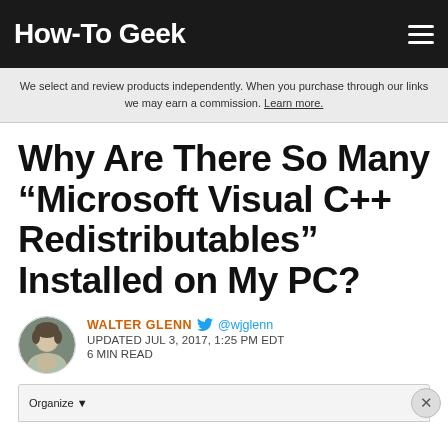How-To Geek
We select and review products independently. When you purchase through our links we may earn a commission. Learn more.
Why Are There So Many “Microsoft Visual C++ Redistributables” Installed on My PC?
WALTER GLENN @wjglenn UPDATED JUL 3, 2017, 1:25 PM EDT 6 MIN READ
[Figure (screenshot): Partial screenshot of a Windows dialog with an Organize button, partially visible, cropped at the bottom of the page.]